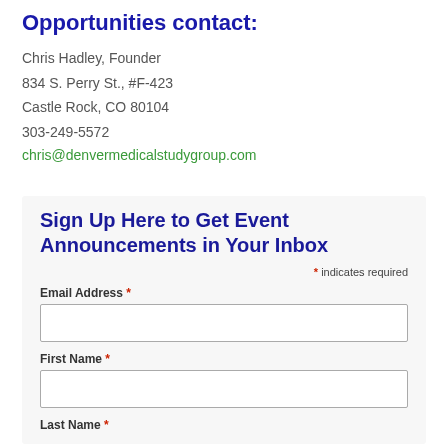Opportunities contact:
Chris Hadley, Founder
834 S. Perry St., #F-423
Castle Rock, CO 80104
303-249-5572
chris@denvermedicalstudygroup.com
Sign Up Here to Get Event Announcements in Your Inbox
* indicates required
Email Address *
First Name *
Last Name *